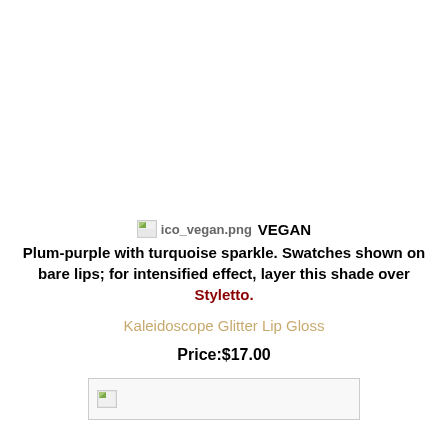[ico_vegan.png] VEGAN
Plum-purple with turquoise sparkle. Swatches shown on bare lips; for intensified effect, layer this shade over Styletto.
Kaleidoscope Glitter Lip Gloss
Price:$17.00
[Figure (photo): Broken image placeholder showing product swatch]